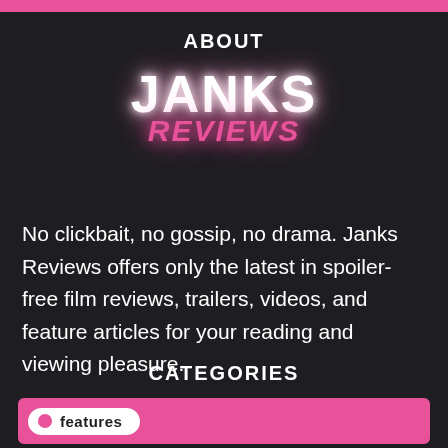ABOUT
[Figure (logo): Janks Reviews logo — JANKS in large white bold text with glow effect, REVIEWS in pink italic below]
No clickbait, no gossip, no drama. Janks Reviews offers only the latest in spoiler-free film reviews, trailers, videos, and feature articles for your reading and viewing pleasure.
CATEGORIES
features